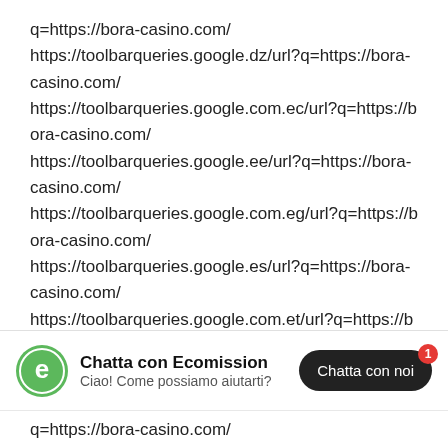q=https://bora-casino.com/ https://toolbarqueries.google.dz/url?q=https://bora-casino.com/ https://toolbarqueries.google.com.ec/url?q=https://bora-casino.com/ https://toolbarqueries.google.ee/url?q=https://bora-casino.com/ https://toolbarqueries.google.com.eg/url?q=https://bora-casino.com/ https://toolbarqueries.google.es/url?q=https://bora-casino.com/ https://toolbarqueries.google.com.et/url?q=https://bora-casino.com/ https://toolbarqueries.google.fi/url?q=https://bora-
[Figure (other): Live chat widget bar with Ecomission logo, bold text 'Chatta con Ecomission', subtitle 'Ciao! Come possiamo aiutarti?', and a dark rounded button 'Chatta con noi' with a red badge showing '1']
q=https://bora-casino.com/